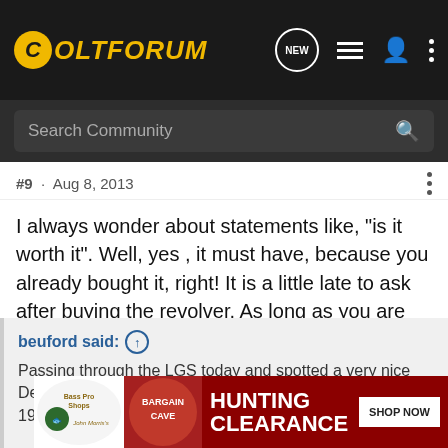[Figure (screenshot): ColtForum website header navigation bar with logo, search, and icons]
Search Community
#9 · Aug 8, 2013
I always wonder about statements like, "is it worth it". Well, yes , it must have, because you already bought it, right! It is a little late to ask after buying the revolver. As long as you are satisfied with it, then it doesn't matter what others say. Enjoy it. Ron
beuford said: ↑
Passing through the LGS today and spotted a very nice Detective Special in .38 special. Serial number dates it to 1969. I just couldn't pass it
[Figure (photo): Bass Pro Shops Hunting Clearance Bargain Cave advertisement banner with Shop Now button]